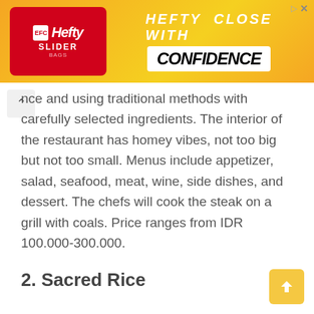[Figure (illustration): Hefty brand advertisement banner with red product box on left and 'Hefty Close With Confidence' text on yellow/orange gradient background]
nce and using traditional methods with carefully selected ingredients. The interior of the restaurant has homey vibes, not too big but not too small. Menus include appetizer, salad, seafood, meat, wine, side dishes, and dessert. The chefs will cook the steak on a grill with coals. Price ranges from IDR 100.000-300.000.
2. Sacred Rice